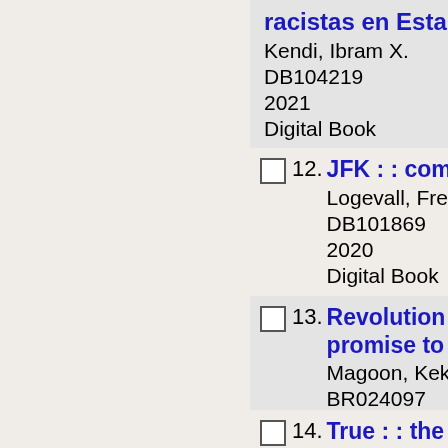racistas en Esta
Kendi, Ibram X.
DB104219
2021
Digital Book
12. JFK : : coming
Logevall, Fredrik
DB101869
2020
Digital Book
13. Revolution in o promise to the
Magoon, Kekla.
BR024097
2021
Braille
14. True : : the fou
Kennedy, Kostya
BR024195